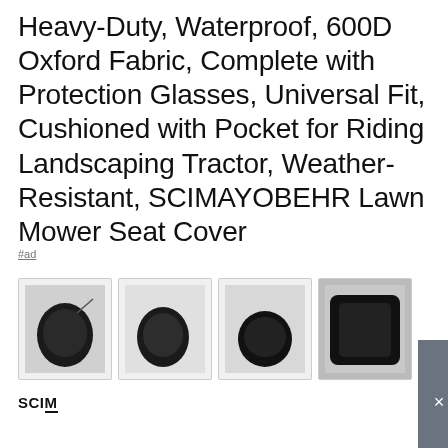Heavy-Duty, Waterproof, 600D Oxford Fabric, Complete with Protection Glasses, Universal Fit, Cushioned with Pocket for Riding Landscaping Tractor, Weather-Resistant, SCIMAYOBEHR Lawn Mower Seat Cover
#ad
[Figure (photo): Four thumbnail images of a lawn mower seat cover product, showing the black seat cover from different angles]
SCIM
As an Amazon Associate I earn from qualifying purchases. This website uses the only necessary cookies to ensure you get the best experience on our website. More information